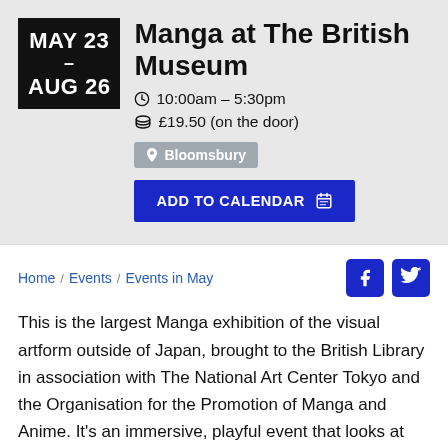Manga at The British Museum
10:00am – 5:30pm
£19.50 (on the door)
Bloomsbury
ADD TO CALENDAR
Home / Events / Events in May
This is the largest Manga exhibition of the visual artform outside of Japan, brought to the British Library in association with The National Art Center Tokyo and the Organisation for the Promotion of Manga and Anime. It's an immersive, playful event that looks at the global appeal of cosplay, anime and manga.